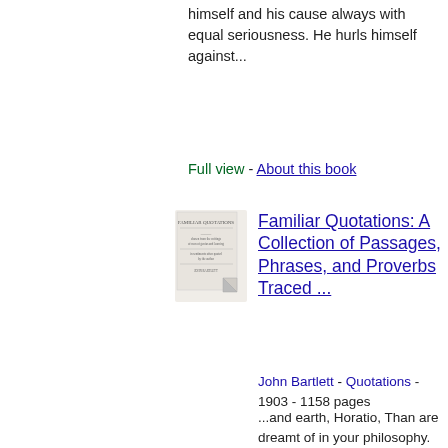himself and his cause always with equal seriousness. He hurls himself against...
Full view - About this book
[Figure (photo): Thumbnail image of the book cover for Familiar Quotations]
Familiar Quotations: A Collection of Passages, Phrases, and Proverbs Traced ...
John Bartlett - Quotations - 1903 - 1158 pages
...and earth, Horatio, Than are dreamt of in your philosophy. ibtd. Rest, rest, perturbed spirit ! ibid. The time is out of joint : 0